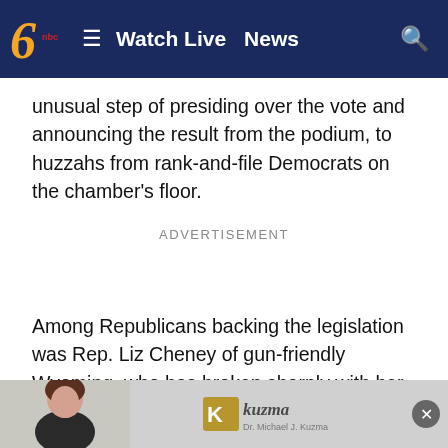Watch Live  News
unusual step of presiding over the vote and announcing the result from the podium, to huzzahs from rank-and-file Democrats on the chamber's floor.
ADVERTISEMENT
Among Republicans backing the legislation was Rep. Liz Cheney of gun-friendly Wyoming, who has broken sharply with her party's leaders and is helping lead the House investigation into last year's Capitol insurrection by supporters of then-President Donald Trump. In a statem[ent] ... [na]tional conser[vative] ... [ance
[Figure (photo): Bottom advertisement banner with a woman's photo and Kuzma Dr. Michael J. Kuzma logo on the right, with a close button.]